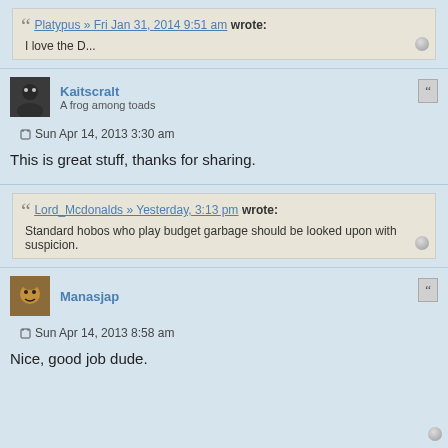Platypus » Fri Jan 31, 2014 9:51 am wrote: I love the D...
Kaitscralt
A frog among toads
Sun Apr 14, 2013 3:30 am
This is great stuff, thanks for sharing.
Lord_Mcdonalds » Yesterday, 3:13 pm wrote: Standard hobos who play budget garbage should be looked upon with suspicion.
Manasjap
Sun Apr 14, 2013 8:58 am
Nice, good job dude.